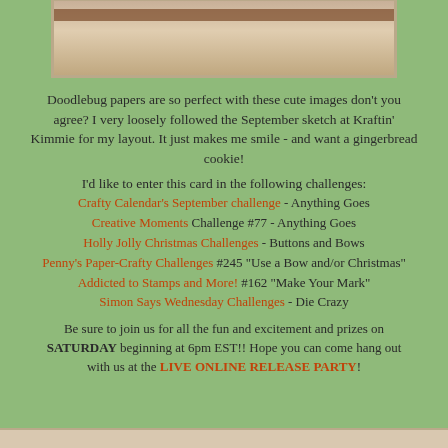[Figure (photo): Partial top image of a crafted card with decorative elements, partially visible at the top of the page]
Doodlebug papers are so perfect with these cute images don't you agree?  I very loosely followed the September sketch at Kraftin' Kimmie for my layout.  It just makes me smile - and want a gingerbread cookie!
I'd like to enter this card in the following challenges:
Crafty Calendar's September challenge - Anything Goes
Creative Moments Challenge #77 - Anything Goes
Holly Jolly Christmas Challenges - Buttons and Bows
Penny's Paper-Crafty Challenges #245 "Use a Bow and/or Christmas"
Addicted to Stamps and More! #162 "Make Your Mark"
Simon Says Wednesday Challenges - Die Crazy
Be sure to join us for all the fun and excitement and prizes on SATURDAY beginning at 6pm EST!! Hope you can come hang out with us at the LIVE ONLINE RELEASE PARTY!
[Figure (photo): Partial bottom image/strip at the bottom of the page]